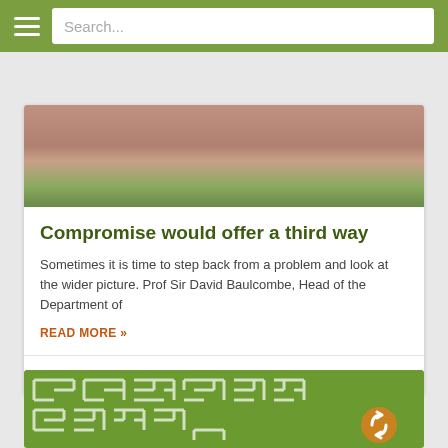Search...
[Figure (photo): Close-up photo of a person's face/neck area, partially cropped, with green foliage in the background]
Compromise would offer a third way
Sometimes it is time to step back from a problem and look at the wider picture.  Prof Sir David Baulcombe, Head of the Department of
READ MORE »
27/05/2016
[Figure (illustration): Green maze/labyrinth illustration with white path lines and a circular arrow icon in the lower right]